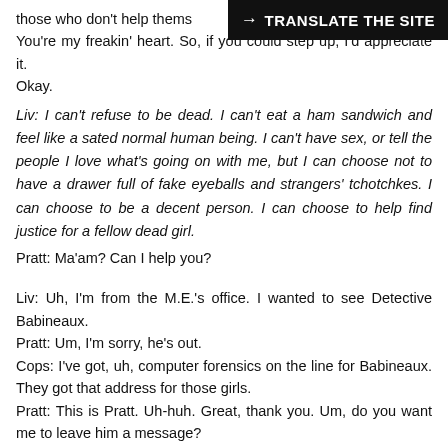those who don't help themselves. You're my freakin' heart. So, if you could step up, I'd appreciate it. Okay.
Liv: I can't refuse to be dead. I can't eat a ham sandwich and feel like a sated normal human being. I can't have sex, or tell the people I love what's going on with me, but I can choose not to have a drawer full of fake eyeballs and strangers' tchotchkes. I can choose to be a decent person. I can choose to help find justice for a fellow dead girl.
Pratt: Ma'am? Can I help you?
Liv: Uh, I'm from the M.E.'s office. I wanted to see Detective Babineaux.
Pratt: Um, I'm sorry, he's out.
Cops: I've got, uh, computer forensics on the line for Babineaux. They got that address for those girls.
Pratt: This is Pratt. Uh-huh. Great, thank you. Um, do you want me to leave him a message?
Liv: I'm good.
Pratt: Okay.